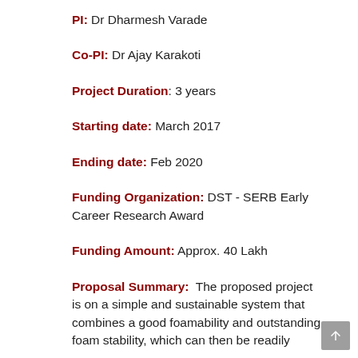PI: Dr Dharmesh Varade
Co-PI: Dr Ajay Karakoti
Project Duration: 3 years
Starting date: March 2017
Ending date: Feb 2020
Funding Organization: DST - SERB Early Career Research Award
Funding Amount: Approx. 40 Lakh
Proposal Summary: The proposed project is on a simple and sustainable system that combines a good foamability and outstanding foam stability, which can then be readily